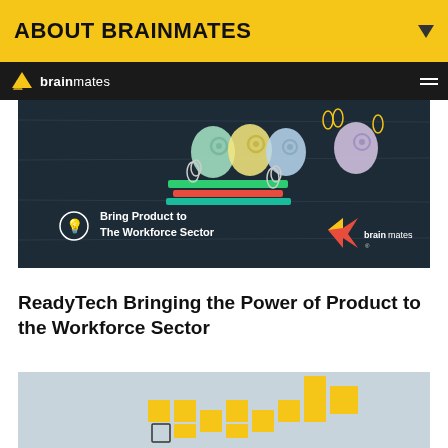ABOUT BRAINMATES
[Figure (logo): Brainmates logo on dark navigation bar]
[Figure (illustration): Banner image: dark chalkboard background with colorful head silhouettes with gear icons, pencils, paperclips. Text: 'Bring Product to The Workforce Sector' with Brainmates logo.]
ReadyTech Bringing the Power of Product to the Workforce Sector
[Figure (photo): Partial image showing yellow puzzle/block pieces arranged on a light grey background, partially cut off at bottom of page.]